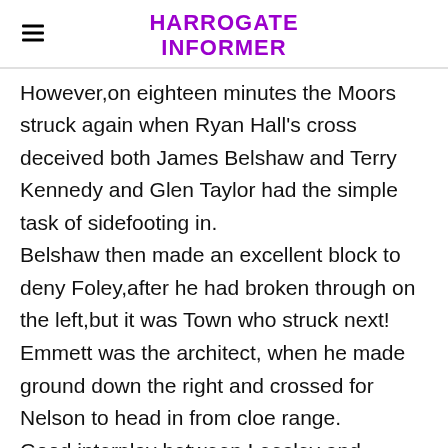HARROGATE INFORMER
However,on eighteen minutes the Moors struck again when Ryan Hall's cross deceived both James Belshaw and Terry Kennedy and Glen Taylor had the simple task of sidefooting in.
Belshaw then made an excellent block to deny Foley,after he had broken through on the left,but it was Town who struck next!
Emmett was the architect, when he made ground down the right and crossed for Nelson to head in from cloe range.
Good interplay between Leesley and Agnew created a chance for George Thomson,but his well struc shot flashed past the far upright.